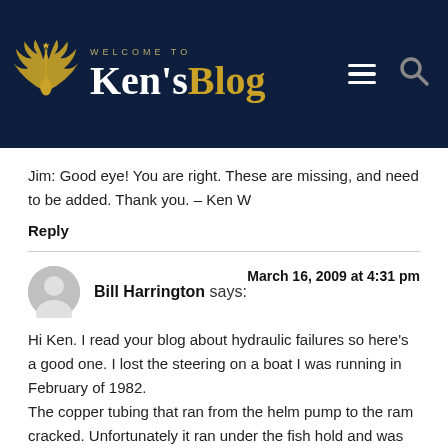[Figure (logo): Ken's Blog website header logo with golden swan/bird wings and 'WELCOME TO Ken'sBlog' text on dark navy background]
Jim: Good eye! You are right. These are missing, and need to be added. Thank you. – Ken W
Reply
Bill Harrington says: March 16, 2009 at 4:31 pm
Hi Ken. I read your blog about hydraulic failures so here's a good one. I lost the steering on a boat I was running in February of 1982. The copper tubing that ran from the helm pump to the ram cracked. Unfortunately it ran under the fish hold and was encapsulated in fiberglass and unaccessible. In order to get the remainder of the way home I had to go down in the lazarette with a pipewrench on the